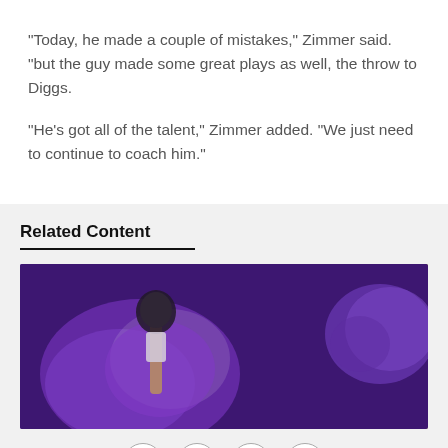"Today, he made a couple of mistakes," Zimmer said. "but the guy made some great plays as well, the throw to Diggs.
"He's got all of the talent," Zimmer added. "We just need to continue to coach him."
Related Content
[Figure (photo): Minnesota Vikings football players in purple helmets on the field, with a hand holding a black item raised in the air.]